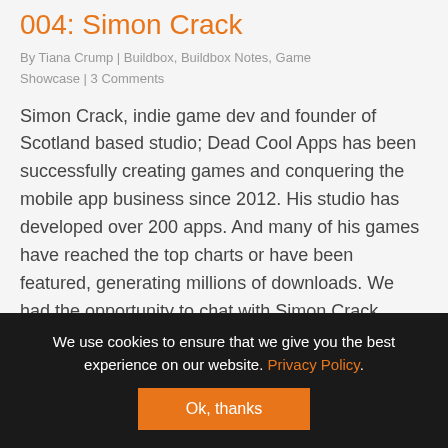004: Simon Crack
By Tiana Crump | Buildbox, Buildbox Notes, Game Showcase | 3 Comments
Simon Crack, indie game dev and founder of Scotland based studio; Dead Cool Apps has been successfully creating games and conquering the mobile app business since 2012. His studio has developed over 200 apps. And many of his games have reached the top charts or have been featured, generating millions of downloads. We had the opportunity to chat with Simon Crack about his
We use cookies to ensure that we give you the best experience on our website. Privacy Policy.
Ok, thanks